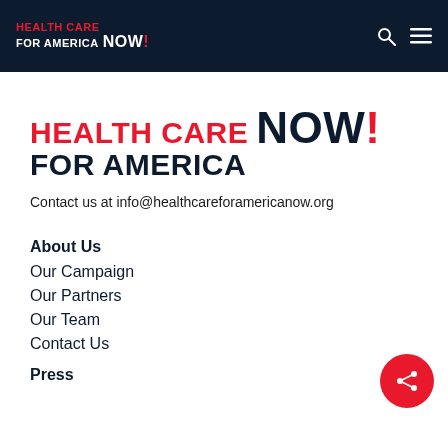HEALTH CARE FOR AMERICA NOW!
[Figure (logo): Health Care for America NOW! logo — large version with red 'HEALTH CARE FOR AMERICA' text and dark navy bold 'NOW!' with red exclamation mark]
Contact us at info@healthcareforamericanow.org
About Us
Our Campaign
Our Partners
Our Team
Contact Us
Press